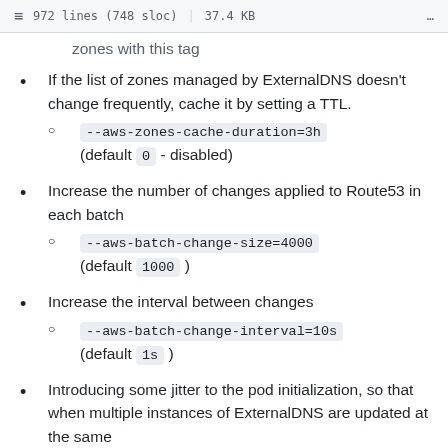972 lines (748 sloc) | 37.4 KB
zones with this tag
If the list of zones managed by ExternalDNS doesn't change frequently, cache it by setting a TTL.
  --aws-zones-cache-duration=3h (default 0 - disabled)
Increase the number of changes applied to Route53 in each batch
  --aws-batch-change-size=4000 (default 1000)
Increase the interval between changes
  --aws-batch-change-interval=10s (default 1s)
Introducing some jitter to the pod initialization, so that when multiple instances of ExternalDNS are updated at the same time, they do not step on their concurrent operations...